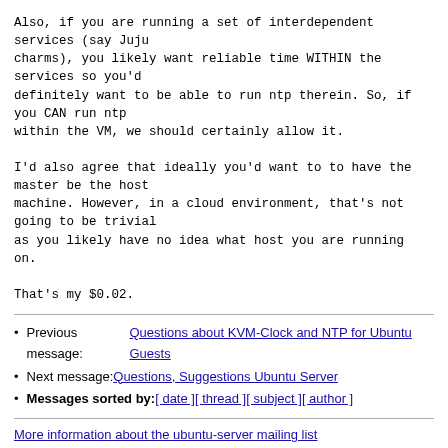Also, if you are running a set of interdependent services (say Juju charms), you likely want reliable time WITHIN the services so you'd definitely want to be able to run ntp therein. So, if you CAN run ntp within the VM, we should certainly allow it.

I'd also agree that ideally you'd want to to have the master be the host machine. However, in a cloud environment, that's not going to be trivial as you likely have no idea what host you are running on.

That's my $0.02.
Previous message: Questions about KVM-Clock and NTP for Ubuntu Guests
Next message: Questions, Suggestions Ubuntu Server
Messages sorted by: [ date ] [ thread ] [ subject ] [ author ]
More information about the ubuntu-server mailing list